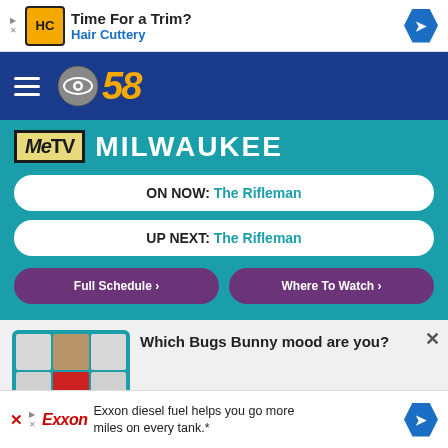[Figure (screenshot): Hair Cuttery advertisement banner with HC logo, 'Time For a Trim?' headline and navigation arrow]
[Figure (logo): CBS 58 logo with hamburger menu on dark blue navigation bar]
[Figure (screenshot): MeTV Milwaukee website widget showing ON NOW: The Rifleman, UP NEXT: The Rifleman, Full Schedule and Where To Watch buttons]
Which Bugs Bunny mood are you?
[Figure (screenshot): Exxon diesel fuel advertisement: 'Exxon diesel fuel helps you go more miles on every tank.*']